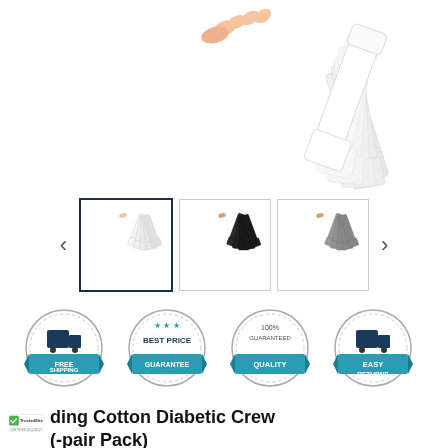[Figure (photo): Product photo of multiple white diabetic crew socks fanned out, held by a hand against white background]
[Figure (photo): Thumbnail carousel showing three color variants of diabetic crew socks: white (selected), black, and gray. Navigation arrows on both sides.]
[Figure (infographic): Four circular badge icons: Free Shipping (truck icon, teal ribbon), Best Price Guarantee (star icons, teal ribbon), 100% Guaranteed Quality (teal ribbon), Easy Returns (truck icon, teal ribbon)]
[Figure (logo): TrustedSite certified logo with green checkmark, text 'TrustedSite' and 'CERTIFIED 2022-08-27']
ding Cotton Diabetic Crew (-pair Pack)